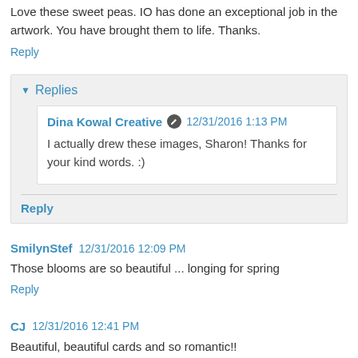Love these sweet peas. IO has done an exceptional job in the artwork. You have brought them to life. Thanks.
Reply
▾ Replies
Dina Kowal Creative  12/31/2016 1:13 PM
I actually drew these images, Sharon! Thanks for your kind words. :)
Reply
SmilynStef  12/31/2016 12:09 PM
Those blooms are so beautiful ... longing for spring
Reply
CJ  12/31/2016 12:41 PM
Beautiful, beautiful cards and so romantic!!